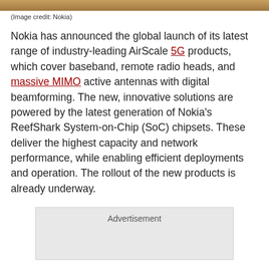[Figure (photo): Partial image strip at top of page (Nokia image credit)]
(Image credit: Nokia)
Nokia has announced the global launch of its latest range of industry-leading AirScale 5G products, which cover baseband, remote radio heads, and massive MIMO active antennas with digital beamforming. The new, innovative solutions are powered by the latest generation of Nokia’s ReefShark System-on-Chip (SoC) chipsets. These deliver the highest capacity and network performance, while enabling efficient deployments and operation. The rollout of the new products is already underway.
[Figure (other): Advertisement placeholder box]